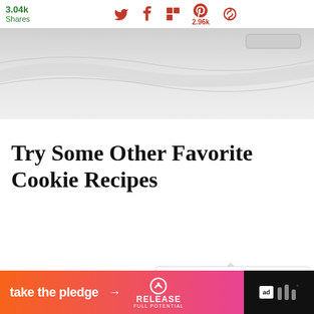3.04k Shares
[Figure (photo): Close-up of a white ceramic or plastic surface with curved ridges and a curved handle or edge visible at top right — appears to be a baking dish or cookie sheet, gray and white tones.]
Try Some Other Favorite Cookie Recipes
[Figure (infographic): What's Next widget showing a circular thumbnail of a green bean dish with text 'WHAT'S NEXT' and 'Grandma's Green Bean...']
[Figure (infographic): Banner advertisement: orange-to-pink gradient banner reading 'take the pledge →' with RELEASE logo and ad badge on dark background]